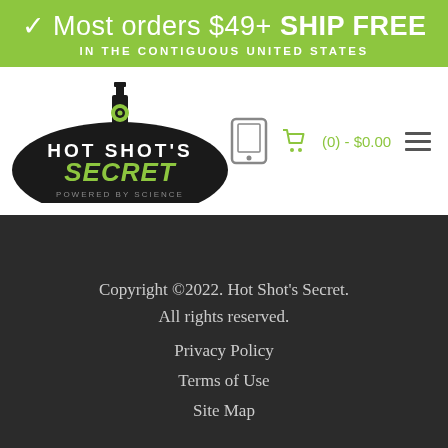✓ Most orders $49+ SHIP FREE IN THE CONTIGUOUS UNITED STATES
[Figure (logo): Hot Shot's Secret logo — black oval with green text SECRET and white HOT SHOT'S text, flask/beaker icon above, POWERED BY SCIENCE below]
Copyright ©2022. Hot Shot's Secret. All rights reserved. Privacy Policy  Terms of Use  Site Map